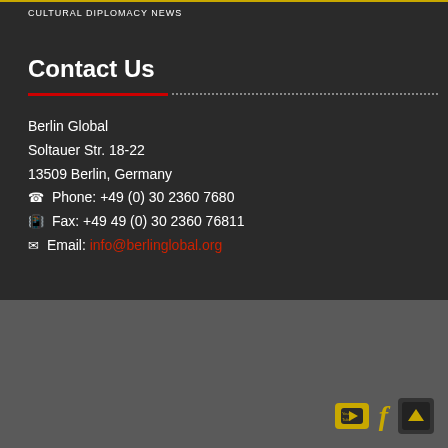CULTURAL DIPLOMACY NEWS
Contact Us
Berlin Global
Soltauer Str. 18-22
13509 Berlin, Germany
Phone: +49 (0) 30 2360 7680
Fax: +49 49 (0) 30 2360 76811
Email: info@berlinglobal.org
© www.berlinglobal.org | all rights reserved. | Imprint | Privacy Policy